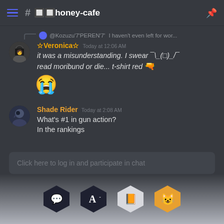# 🔲🔲honey-cafe
@Kozuzu'7'PEREN'7' I haven't even left for wor...
☆Veronica☆ Today at 12:06 AM
it was a misunderstanding. I swear ¯\_(□)_/¯
read moribund or die... t-shirt red 🔫
🔥
Shade Rider Today at 2:08 AM
What's #1 in gun action?
In the rankings
Click here to log in and participate in chat